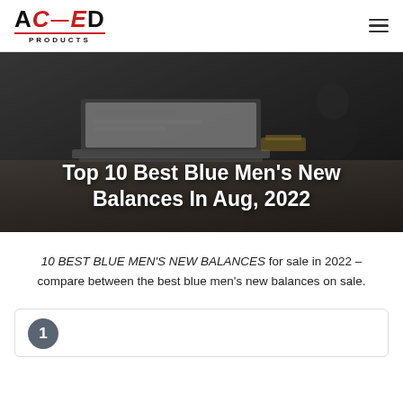[Figure (logo): ACED Products logo with red E and hyphen, red underline, PRODUCTS text below]
[Figure (photo): Dark-toned hero banner showing a person working on a laptop at a desk]
Top 10 Best Blue Men's New Balances In Aug, 2022
10 BEST BLUE MEN'S NEW BALANCES for sale in 2022 – compare between the best blue men's new balances on sale.
1